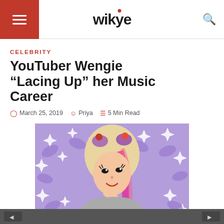wikye
CELEBRITY
YouTuber Wengie “Lacing Up” her Music Career
March 25, 2019  Priya  5 Min Read
[Figure (photo): Photo of Wengie, a YouTuber with long blonde and pink hair, wearing a sparkly outfit, posed against a purple background with white star/sparkle decorations]